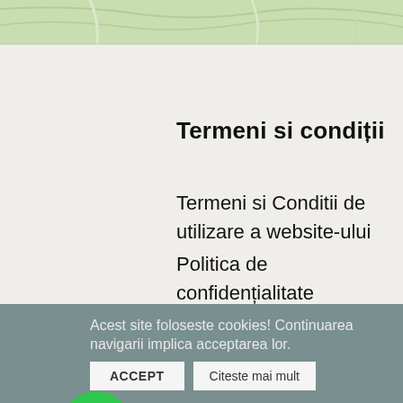[Figure (map): Partial map screenshot showing green terrain with road lines, cropped at top]
Termeni si condiții
Termeni si Conditii de utilizare a website-ului
Politica de confidențialitate
Politica privind utilizarea modulelelor cookie
[Figure (illustration): Green circular phone call button]
[Figure (illustration): Green circular WhatsApp button]
Acest site foloseste cookies! Continuarea navigarii implica acceptarea lor.
ACCEPT
Citeste mai mult